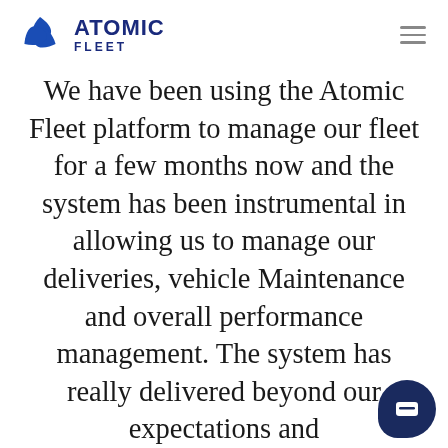ATOMIC FLEET
We have been using the Atomic Fleet platform to manage our fleet for a few months now and the system has been instrumental in allowing us to manage our deliveries, vehicle Maintenance and overall performance management. The system has really delivered beyond our expectations and